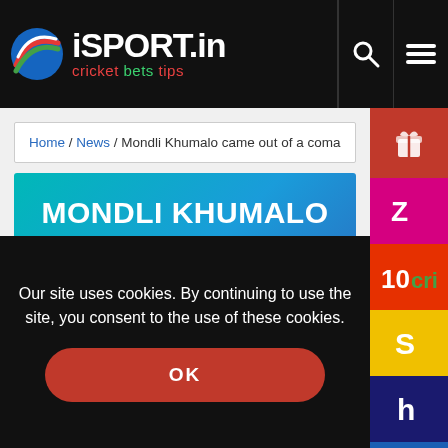iSPORT.in — cricket bets tips
Home / News / Mondli Khumalo came out of a coma
MONDLI KHUMALO CAME OUT OF A COMA
Published: 6 June 2022 at 10:29
Our site uses cookies. By continuing to use the site, you consent to the use of these cookies.